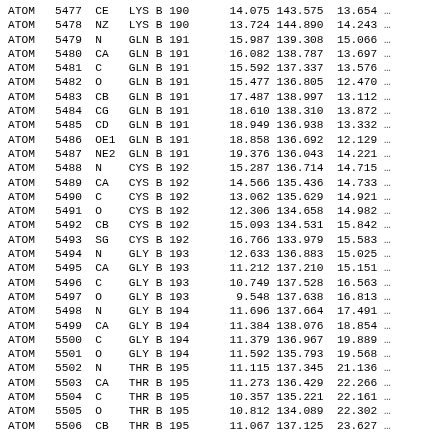| record | serial | atom | res | chain | resseq | x | y | z | more |
| --- | --- | --- | --- | --- | --- | --- | --- | --- | --- |
| ATOM | 5477 | CE | LYS | B | 190 | 14.075 | 143.575 | 13.654 | … |
| ATOM | 5478 | NZ | LYS | B | 190 | 13.724 | 144.890 | 14.243 | … |
| ATOM | 5479 | N | GLN | B | 191 | 15.987 | 139.308 | 15.066 | … |
| ATOM | 5480 | CA | GLN | B | 191 | 16.082 | 138.787 | 13.697 | … |
| ATOM | 5481 | C | GLN | B | 191 | 15.592 | 137.337 | 13.576 | … |
| ATOM | 5482 | O | GLN | B | 191 | 15.477 | 136.805 | 12.470 | … |
| ATOM | 5483 | CB | GLN | B | 191 | 17.487 | 138.997 | 13.112 | … |
| ATOM | 5484 | CG | GLN | B | 191 | 18.610 | 138.310 | 13.872 | … |
| ATOM | 5485 | CD | GLN | B | 191 | 18.949 | 136.938 | 13.332 | … |
| ATOM | 5486 | OE1 | GLN | B | 191 | 18.858 | 136.692 | 12.129 | … |
| ATOM | 5487 | NE2 | GLN | B | 191 | 19.376 | 136.043 | 14.221 | … |
| ATOM | 5488 | N | CYS | B | 192 | 15.287 | 136.714 | 14.715 | … |
| ATOM | 5489 | CA | CYS | B | 192 | 14.566 | 135.436 | 14.733 | … |
| ATOM | 5490 | C | CYS | B | 192 | 13.062 | 135.629 | 14.921 | … |
| ATOM | 5491 | O | CYS | B | 192 | 12.306 | 134.658 | 14.982 | … |
| ATOM | 5492 | CB | CYS | B | 192 | 15.093 | 134.531 | 15.842 | … |
| ATOM | 5493 | SG | CYS | B | 192 | 16.766 | 133.979 | 15.583 | … |
| ATOM | 5494 | N | GLY | B | 193 | 12.633 | 136.883 | 15.025 | … |
| ATOM | 5495 | CA | GLY | B | 193 | 11.212 | 137.210 | 15.151 | … |
| ATOM | 5496 | C | GLY | B | 193 | 10.749 | 137.528 | 16.563 | … |
| ATOM | 5497 | O | GLY | B | 193 | 9.548 | 137.638 | 16.813 | … |
| ATOM | 5498 | N | GLY | B | 194 | 11.696 | 137.664 | 17.491 | … |
| ATOM | 5499 | CA | GLY | B | 194 | 11.384 | 138.076 | 18.854 | … |
| ATOM | 5500 | C | GLY | B | 194 | 11.379 | 136.967 | 19.889 | … |
| ATOM | 5501 | O | GLY | B | 194 | 11.592 | 135.793 | 19.568 | … |
| ATOM | 5502 | N | THR | B | 195 | 11.115 | 137.345 | 21.136 | … |
| ATOM | 5503 | CA | THR | B | 195 | 11.273 | 136.429 | 22.266 | … |
| ATOM | 5504 | C | THR | B | 195 | 10.357 | 135.221 | 22.161 | … |
| ATOM | 5505 | O | THR | B | 195 | 10.812 | 134.089 | 22.302 | … |
| ATOM | 5506 | CB | THR | B | 195 | 11.067 | 137.125 | 23.627 | … |